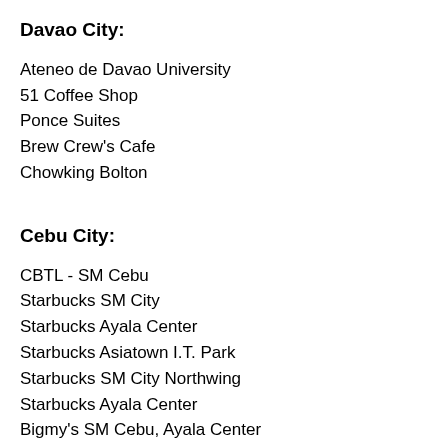Davao City:
Ateneo de Davao University
51 Coffee Shop
Ponce Suites
Brew Crew's Cafe
Chowking Bolton
Cebu City:
CBTL - SM Cebu
Starbucks SM City
Starbucks Ayala Center
Starbucks Asiatown I.T. Park
Starbucks SM City Northwing
Starbucks Ayala Center
Bigmy's SM Cebu, Ayala Center
Cebu City Sports Center
Mactan Cebu International Airport